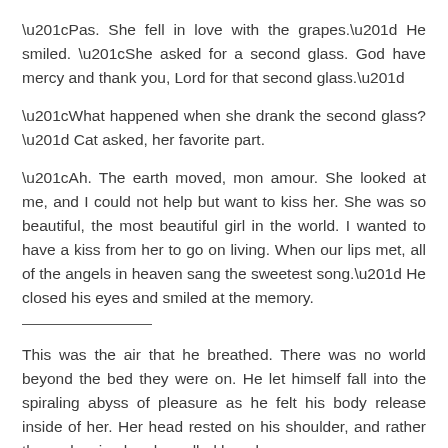“Pas. She fell in love with the grapes.” He smiled. “She asked for a second glass. God have mercy and thank you, Lord for that second glass.”
“What happened when she drank the second glass?” Cat asked, her favorite part.
“Ah. The earth moved, mon amour. She looked at me, and I could not help but want to kiss her. She was so beautiful, the most beautiful girl in the world. I wanted to have a kiss from her to go on living. When our lips met, all of the angels in heaven sang the sweetest song.” He closed his eyes and smiled at the memory.
This was the air that he breathed. There was no world beyond the bed they were on. He let himself fall into the spiraling abyss of pleasure as he felt his body release inside of her. Her head rested on his shoulder, and rather than releasing her, he pulled her closer.